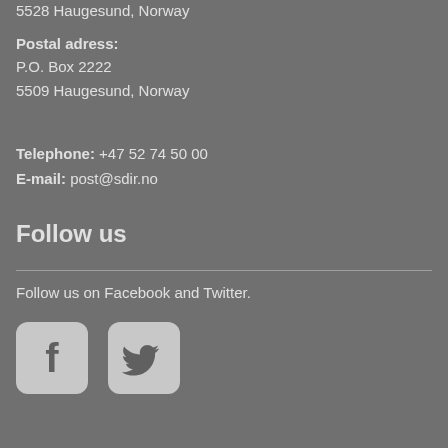5528 Haugesund, Norway
Postal adress:
P.O. Box 2222
5509 Haugesund, Norway
Telephone: +47 52 74 50 00
E-mail: post@sdir.no
Follow us
Follow us on Facebook and Twitter.
[Figure (logo): Facebook icon square with rounded corners, light gray background, dark gray Facebook 'f' logo]
[Figure (logo): Twitter icon square with rounded corners, light gray background, dark gray Twitter bird logo]